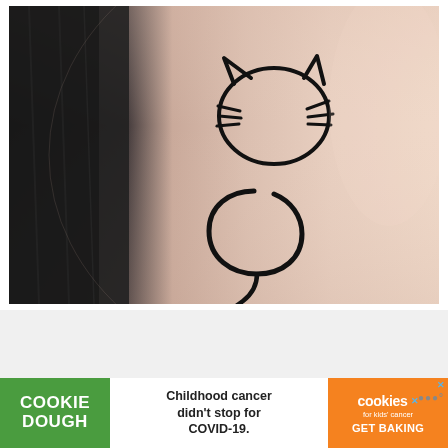[Figure (photo): Close-up photograph of a wrist tattoo combining a cat face silhouette outline (with ears and whiskers) on top and a semicolon shape below, forming a cat-semicolon design on pale skin with dark fabric visible on the left side.]
[Figure (photo): Advertisement banner for Cookie Dough / Cookies for Kids Cancer. Left green section shows 'COOKIE DOUGH' text, middle white section reads 'Childhood cancer didn't stop for COVID-19.', right orange section shows 'cookies for kids cancer GET BAKING' logo.]